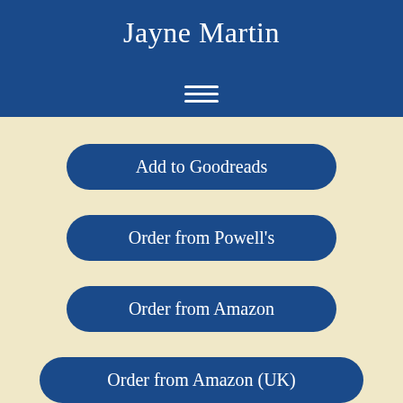Jayne Martin
Add to Goodreads
Order from Powell's
Order from Amazon
Order from Amazon (UK)
Order from B&N